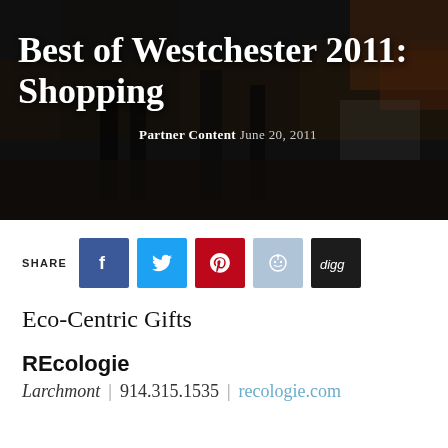[Figure (photo): Hero image with blurred background photo of people shopping/walking, overlaid with dark tint and white text showing 'Best of Westchester 2011: Shopping' and byline 'Partner Content June 20, 2011']
Best of Westchester 2011: Shopping
Partner Content June 20, 2011
SHARE
Eco-Centric Gifts
REcologie
Larchmont | 914.315.1535 | recologie.com